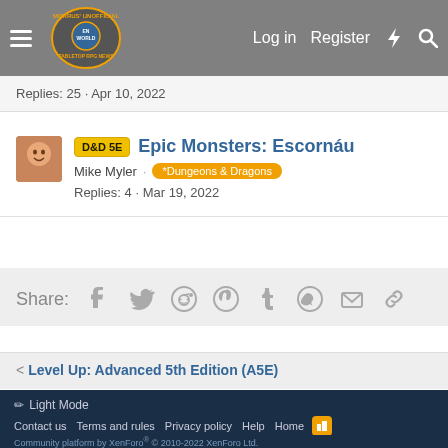Morrus' Unofficial Tabletop RPG News — Log in | Register
Replies: 25 · Apr 10, 2022
D&D 5E  Epic Monsters: Escornáu
Mike Myler · *Dungeons & Dragons
Replies: 4 · Mar 19, 2022
Share:
< Level Up: Advanced 5th Edition (A5E)
Contact us  Terms and rules  Privacy policy  Help  Home
Community platform by XenForo® © 2010-2022 XenForo Ltd.
Ignore/Block Essentials, Paid Registrations by AddonFlare - Premium XF2 Addons | [XTR] Modal Popups © 2019 XENTR Development
Discord Integration © Jason Axelrod of 8WAYRUN
XenCarta 2 PRO © Jason Axelrod of 8WAYRUN